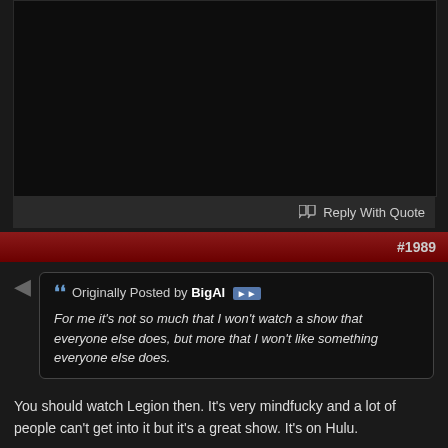[Figure (screenshot): Black panel area representing collapsed/hidden content in a forum post]
Reply With Quote
#1989
Originally Posted by BigAl
For me it's not so much that I won't watch a show that everyone else does, but more that I won't like something everyone else does.
You should watch Legion then. It's very mindfucky and a lot of people can't get into it but it's a great show. It's on Hulu.